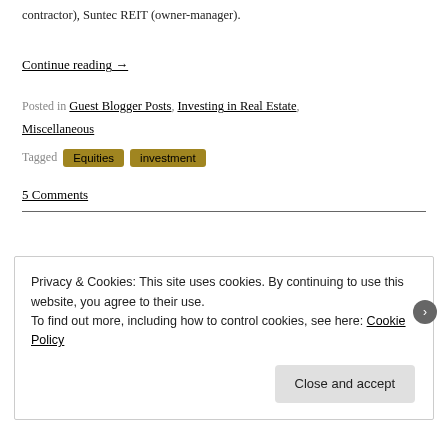contractor), Suntec REIT (owner-manager).
Continue reading →
Posted in Guest Blogger Posts, Investing in Real Estate, Miscellaneous
Tagged Equities investment
5 Comments
Privacy & Cookies: This site uses cookies. By continuing to use this website, you agree to their use. To find out more, including how to control cookies, see here: Cookie Policy
Close and accept